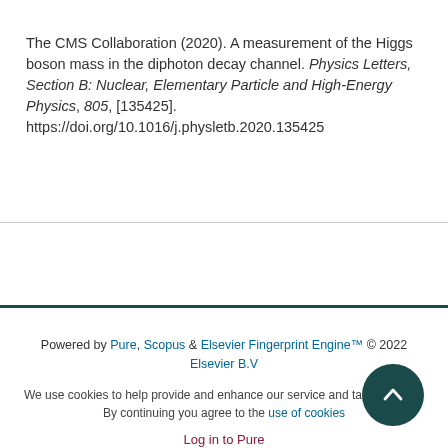The CMS Collaboration (2020). A measurement of the Higgs boson mass in the diphoton decay channel. Physics Letters, Section B: Nuclear, Elementary Particle and High-Energy Physics, 805, [135425]. https://doi.org/10.1016/j.physletb.2020.135425
Powered by Pure, Scopus & Elsevier Fingerprint Engine™ © 2022 Elsevier B.V
We use cookies to help provide and enhance our service and tailor content. By continuing you agree to the use of cookies
Log in to Pure
About web accessibility
Contact us